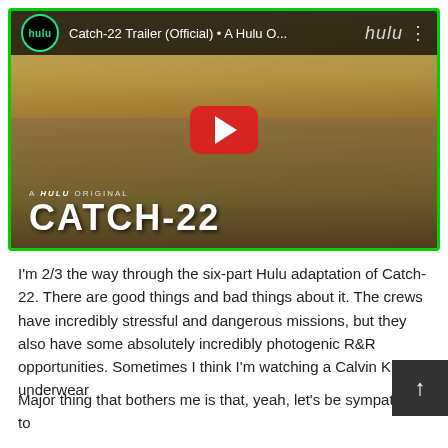[Figure (screenshot): YouTube embedded video thumbnail for 'Catch-22 Trailer (Official) • A Hulu O...' showing two men in WWII flight gear walking on an airfield, with Hulu branding and a red YouTube play button. The text 'A HULU ORIGINAL CATCH-22' appears at the bottom of the thumbnail. Green border around the video player.]
I'm 2/3 the way through the six-part Hulu adaptation of Catch-22. There are good things and bad things about it. The crews have incredibly stressful and dangerous missions, but they also have some absolutely incredibly photogenic R&R opportunities. Sometimes I think I'm watching a Calvin Klein underwear
Major thing that bothers me is that, yeah, let's be sympathetic to